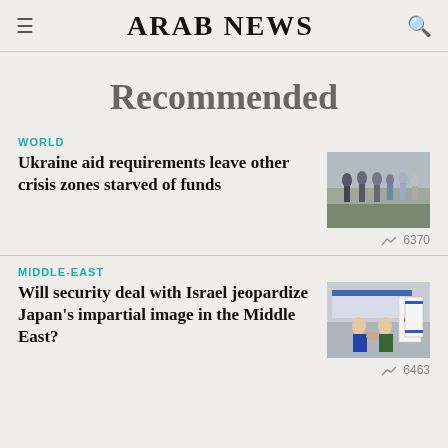ARAB NEWS
Recommended
WORLD
Ukraine aid requirements leave other crisis zones starved of funds
[Figure (photo): People walking in winter coats on a street or path]
6370
MIDDLE-EAST
Will security deal with Israel jeopardize Japan's impartial image in the Middle East?
[Figure (photo): Two officials shaking hands at a formal meeting with flags in the background]
6463